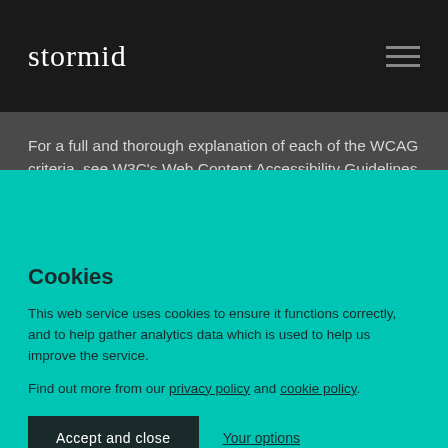stormid
For a full and thorough explanation of each of the WCAG criteria, see W3C's Web Content Accessibility Guidelines (WCAG)
Cookies
This web service uses cookies to ensure it functions correctly, and to help gather analytics data which is used to help us improve the service.
Find out more from our privacy policy and cookie policy.